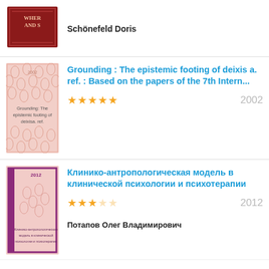[Figure (illustration): Dark red book cover partially visible at top, showing text WHERE... AND S...]
Schönefeld Doris
[Figure (illustration): Pink book cover with repeating oval pattern, titled 'Grounding: The epistemic footing of deixisa. ref.']
Grounding : The epistemic footing of deixis a. ref. : Based on the papers of the 7th Intern...
★★★★★  2002
[Figure (illustration): Pink book cover with purple border, year 2012, Russian text about clinical-anthropological model]
Клинико-антропологическая модель в клинической психологии и психотерапии
★★★☆☆  2012
Потапов Олег Владимирович